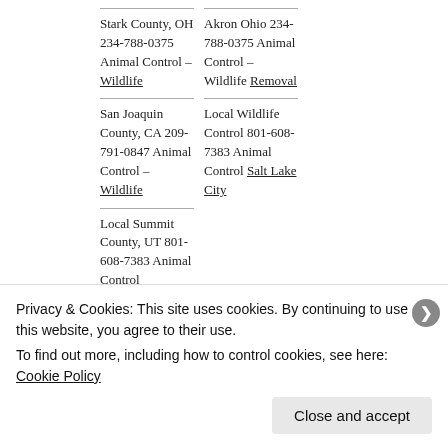Stark County, OH 234-788-0375 Animal Control – Wildlife
Akron Ohio 234-788-0375 Animal Control – Wildlife Removal
San Joaquin County, CA 209-791-0847 Animal Control – Wildlife
Local Wildlife Control 801-608-7383 Animal Control Salt Lake City
Local Summit County, UT 801-608-7383 Animal Control
Privacy & Cookies: This site uses cookies. By continuing to use this website, you agree to their use. To find out more, including how to control cookies, see here: Cookie Policy